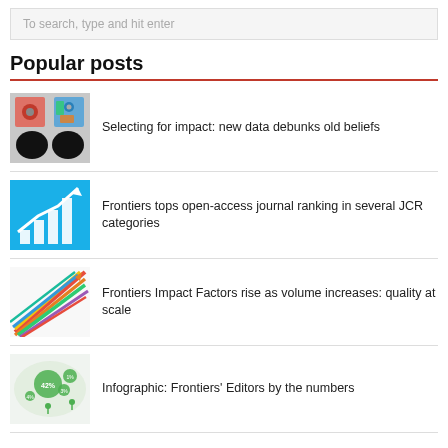To search, type and hit enter
Popular posts
Selecting for impact: new data debunks old beliefs
Frontiers tops open-access journal ranking in several JCR categories
Frontiers Impact Factors rise as volume increases: quality at scale
Infographic: Frontiers' Editors by the numbers